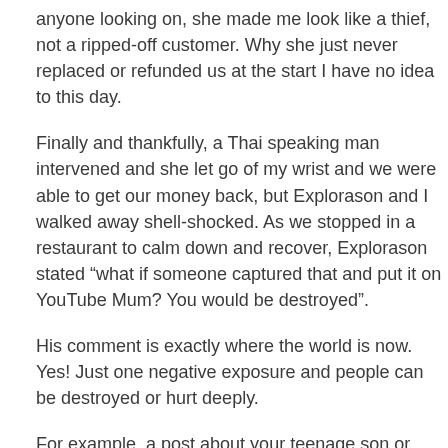anyone looking on, she made me look like a thief, not a ripped-off customer. Why she just never replaced or refunded us at the start I have no idea to this day.
Finally and thankfully, a Thai speaking man intervened and she let go of my wrist and we were able to get our money back, but Explorason and I walked away shell-shocked. As we stopped in a restaurant to calm down and recover, Explorason stated "what if someone captured that and put it on YouTube Mum? You would be destroyed".
His comment is exactly where the world is now.  Yes! Just one negative exposure and people can be destroyed or hurt deeply.
For example, a post about your teenage son or daughter or son can go viral and find itself in the noticeboard in his/her school.  Bullies can use such remarks and posts to bring him/her down if you fail to moderate their use of the internet.  Not only that but now bullying, lies, and rumors